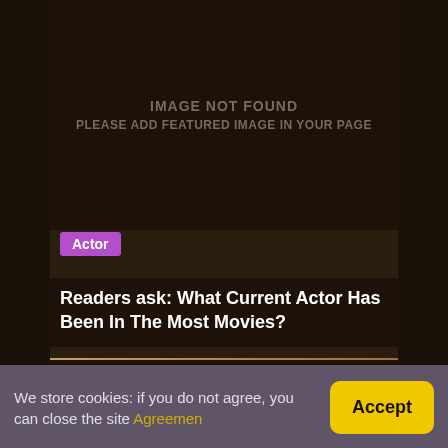[Figure (other): Image placeholder with dark brown background showing 'IMAGE NOT FOUND / PLEASE ADD FEATURED IMAGE IN YOUR PAGE' text]
Actor
Readers ask: What Current Actor Has Been In The Most Movies?
[Figure (other): Second dark brown image placeholder card]
We store cookies: if you do not agree, you can close the site Agreemen